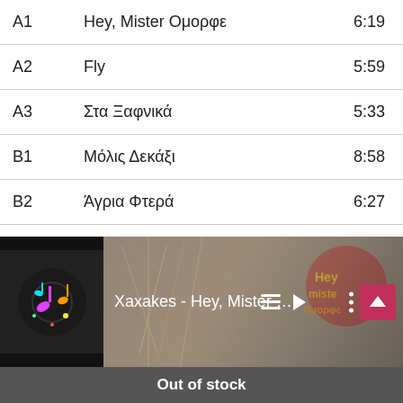|  |  |  |
| --- | --- | --- |
| A1 | Hey, Mister Ομορφε | 6:19 |
| A2 | Fly | 5:59 |
| A3 | Στα Ξαφνικά | 5:33 |
| B1 | Μόλις Δεκάξι | 8:58 |
| B2 | Άγρια Φτερά | 6:27 |
| B3 | Έτσι Απλά | 6:19 |
[Figure (screenshot): Music player bar showing 'Xaxakes - Hey, Mister Omor...' with album art, playlist icon, play button, and three-dot menu. Red scroll-to-top button on right.]
Out of stock